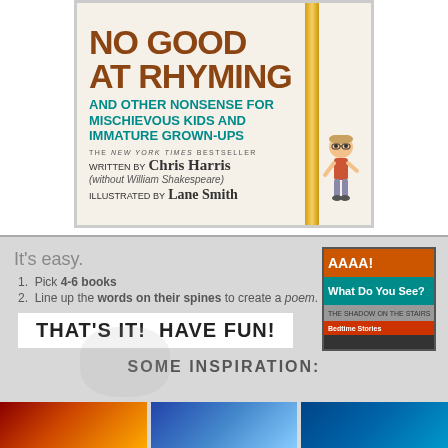[Figure (illustration): Book cover of 'No Good at Rhyming and Other Nonsense for Mischievous Kids and Immature Grown-Ups', The New York Times Bestseller, written by Chris Harris (without William Shakespeare), illustrated by Lane Smith. Features bold brown and teal typography on a cream background with a gold spine bar and cartoon child illustration.]
It's easy.
1. Pick 4-6 books
2. Line up the words on their spines to create a poem.
THAT'S IT! HAVE FUN!
[Figure (photo): Stack of colorful books showing spines with text including 'AAAA!', 'What Do You See?', 'THE SHADOW ON THE STAIRS', and another red book]
SOME INSPIRATION:
[Figure (photo): Three partial book cover images at the bottom of the page showing colorful spines]